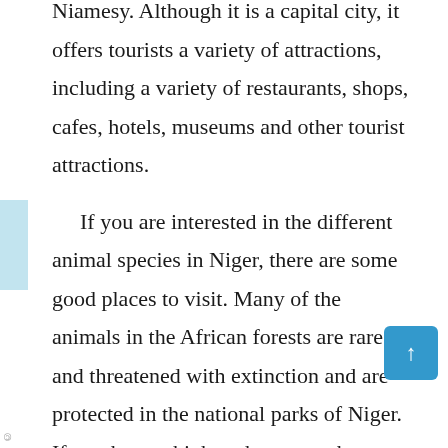Niamesy. Although it is a capital city, it offers tourists a variety of attractions, including a variety of restaurants, shops, cafes, hotels, museums and other tourist attractions.

If you are interested in the different animal species in Niger, there are some good places to visit. Many of the animals in the African forests are rare and threatened with extinction and are protected in the national parks of Niger. If you have a high-tech camera that can capture wildlife, you can also visit some of these amazing national parks in Niamey and Niger. Two of them are